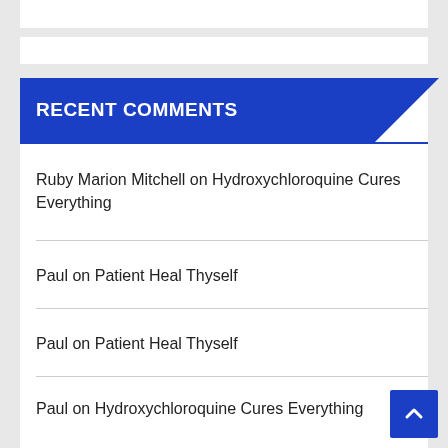RECENT COMMENTS
Ruby Marion Mitchell on Hydroxychloroquine Cures Everything
Paul on Patient Heal Thyself
Paul on Patient Heal Thyself
Paul on Hydroxychloroquine Cures Everything
Paul on Hydroxychloroquine Cures Cancer